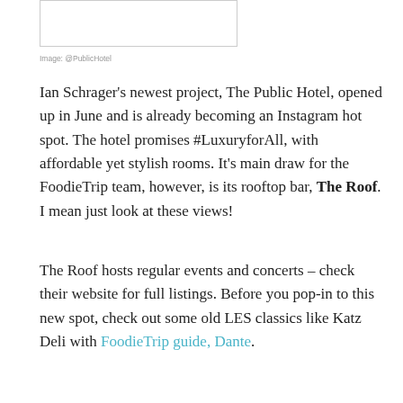[Figure (other): Empty white image placeholder box with border]
Image: @PublicHotel
Ian Schrager's newest project, The Public Hotel, opened up in June and is already becoming an Instagram hot spot. The hotel promises #LuxuryforAll, with affordable yet stylish rooms. It's main draw for the FoodieTrip team, however, is its rooftop bar, The Roof. I mean just look at these views!
The Roof hosts regular events and concerts – check their website for full listings. Before you pop-in to this new spot, check out some old LES classics like Katz Deli with FoodieTrip guide, Dante.